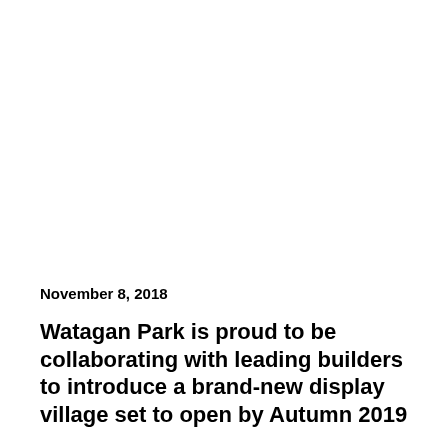November 8, 2018
Watagan Park is proud to be collaborating with leading builders to introduce a brand-new display village set to open by Autumn 2019